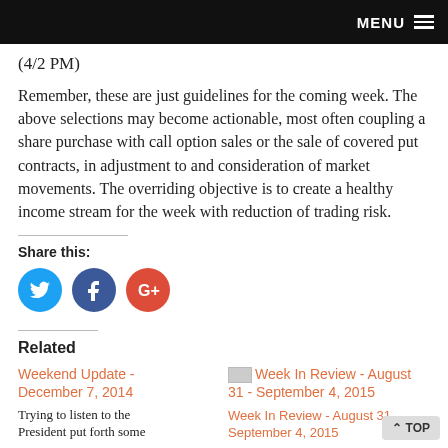MENU
(4/2 PM)
Remember, these are just guidelines for the coming week. The above selections may become actionable, most often coupling a share purchase with call option sales or the sale of covered put contracts, in adjustment to and consideration of market movements. The overriding objective is to create a healthy income stream for the week with reduction of trading risk.
Share this:
Related
Weekend Update - December 7, 2014
Trying to listen to the President put forth some
Week In Review - August 31 - September 4, 2015
Week In Review - August 31 - September 4, 2015